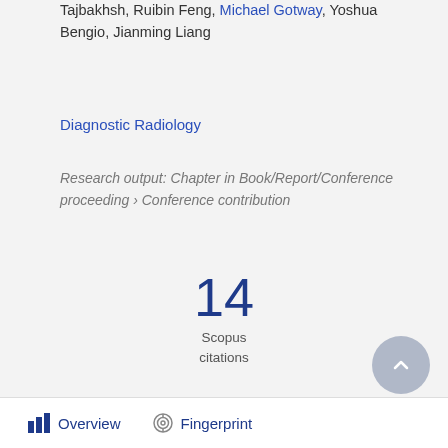Tajbakhsh, Ruibin Feng, Michael Gotway, Yoshua Bengio, Jianming Liang
Diagnostic Radiology
Research output: Chapter in Book/Report/Conference proceeding › Conference contribution
14
Scopus
citations
Overview   Fingerprint